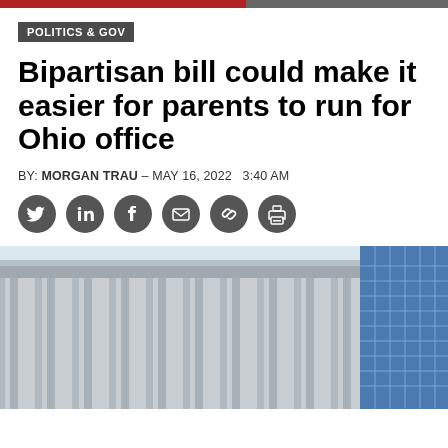POLITICS & GOV
Bipartisan bill could make it easier for parents to run for Ohio office
BY: MORGAN TRAU - MAY 16, 2022   3:40 AM
[Figure (photo): Photograph of a neoclassical government building with tall columns on the left and a modern blue glass office tower on the right, taken from street level looking up.]